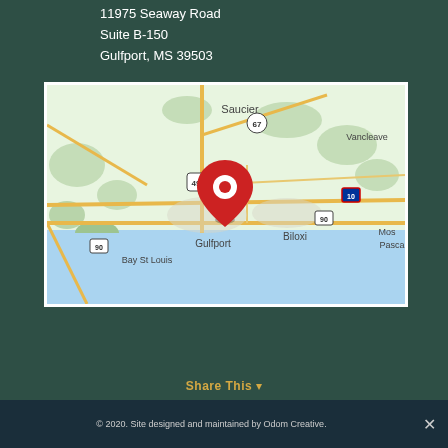11975 Seaway Road
Suite B-150
Gulfport, MS 39503
[Figure (map): Google Maps screenshot showing the Mississippi Gulf Coast area with a red location pin dropped over Gulfport, MS. The map shows Saucier to the north, Biloxi to the east, Bay St Louis to the west, and the Gulf of Mexico (Mississippi Sound) to the south. Roads including Hwy 49, Hwy 67, I-10, and Hwy 90 are visible.]
© 2020. Site designed and maintained by Odom Creative.
Share This